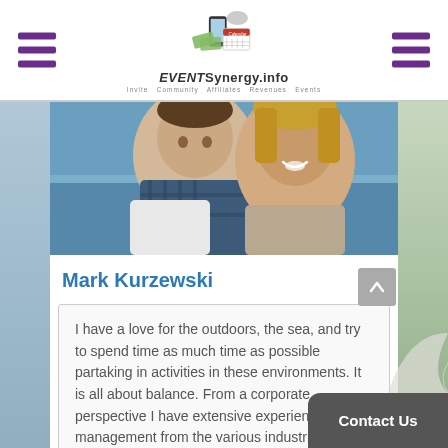[Figure (logo): EVENTSynergy.info logo with calendar and money graphic, hamburger menu icons on left and right]
[Figure (photo): Photo of a man and woman smiling together outdoors near the sea]
Mark Kurzewski
I have a love for the outdoors, the sea, and try to spend time as much time as possible partaking in activities in these environments. It is all about balance. From a corporate perspective I have extensive experience management from the various industrie